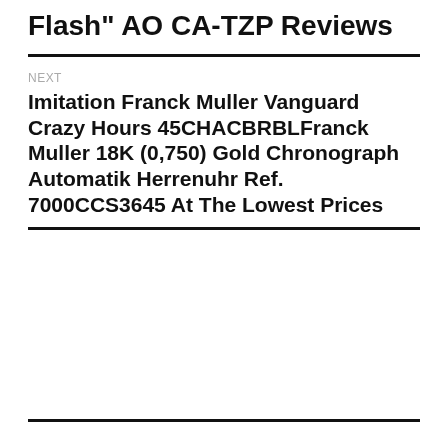Flash" AO CA-TZP Reviews
NEXT
Imitation Franck Muller Vanguard Crazy Hours 45CHACBRBLFranck Muller 18K (0,750) Gold Chronograph Automatik Herrenuhr Ref. 7000CCS3645 At The Lowest Prices